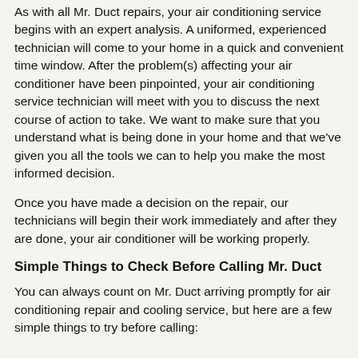As with all Mr. Duct repairs, your air conditioning service begins with an expert analysis. A uniformed, experienced technician will come to your home in a quick and convenient time window. After the problem(s) affecting your air conditioner have been pinpointed, your air conditioning service technician will meet with you to discuss the next course of action to take. We want to make sure that you understand what is being done in your home and that we've given you all the tools we can to help you make the most informed decision.
Once you have made a decision on the repair, our technicians will begin their work immediately and after they are done, your air conditioner will be working properly.
Simple Things to Check Before Calling Mr. Duct
You can always count on Mr. Duct arriving promptly for air conditioning repair and cooling service, but here are a few simple things to try before calling: